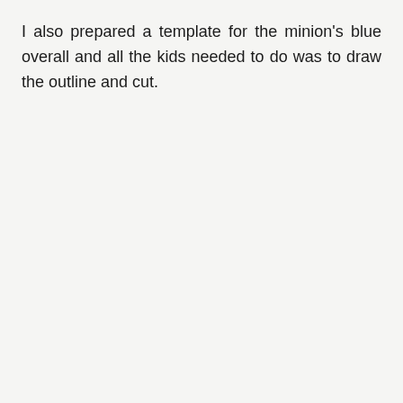I also prepared a template for the minion's blue overall and all the kids needed to do was to draw the outline and cut.